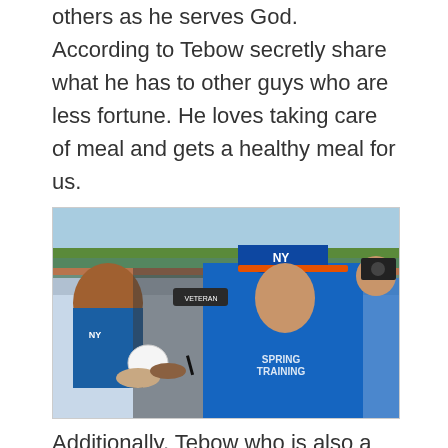others as he serves God. According to Tebow secretly share what he has to other guys who are less fortune. He loves taking care of meal and gets a healthy meal for us.
[Figure (photo): Tim Tebow in a blue New York Mets uniform and cap signing autographs for fans at spring training. He is leaning over a fence signing a baseball for a crowd of fans, several wearing Mets gear. A 'VETERAN' cap is visible in the crowd.]
Additionally, Tebow who is also a Christian...